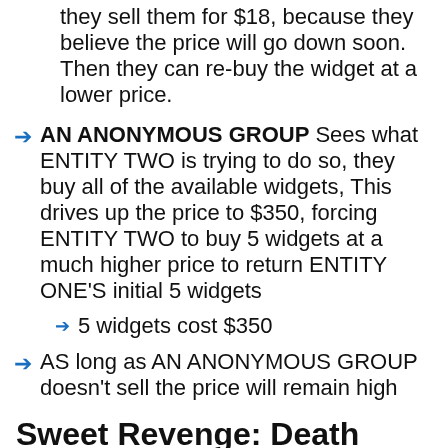they sell them for $18, because they believe the price will go down soon. Then they can re-buy the widget at a lower price.
AN ANONYMOUS GROUP Sees what ENTITY TWO is trying to do so, they buy all of the available widgets, This drives up the price to $350, forcing ENTITY TWO to buy 5 widgets at a much higher price to return ENTITY ONE'S initial 5 widgets
5 widgets cost $350
AS long as AN ANONYMOUS GROUP doesn't sell the price will remain high
Sweet Revenge: Death